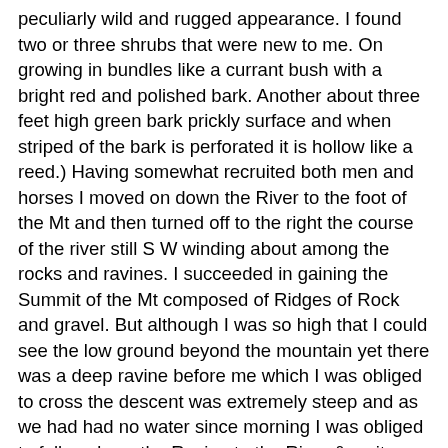peculiarly wild and rugged appearance. I found two or three shrubs that were new to me. On growing in bundles like a currant bush with a bright red and polished bark. Another about three feet high green bark prickly surface and when striped of the bark is perforated it is hollow like a reed.) Having somewhat recruited both men and horses I moved on down the River to the foot of the Mt and then turned off to the right the course of the river still S W winding about among the rocks and ravines. I succeeded in gaining the Summit of the Mt composed of Ridges of Rock and gravel. But although I was so high that I could see the low ground beyond the mountain yet there was a deep ravine before me which I was obliged to cross the descent was extremely steep and as we had had no water since morning I was obliged to follow down the Ravine to the River & as it was then nearly night encamped without any grass for my horses. I killed an Ibex in good order and one of the men killed another. These relished verry well with men who had been for several days deprived of their accustomed rations of meat. Early the next morning we started down in the bed of the general shallowness of the water. By the